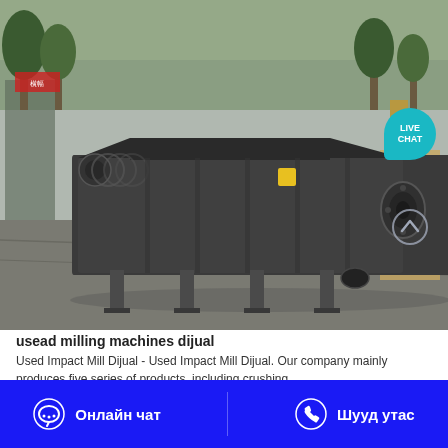[Figure (photo): Industrial screw conveyor / milling machine photographed outdoors on a concrete surface, painted dark grey/black, with spiral auger visible at one end, trees and industrial equipment in background. A 'LIVE CHAT' speech-bubble badge appears in the upper right of the image.]
usead milling machines dijual
Used Impact Mill Dijual - Used Impact Mill Dijual. Our company mainly produces five series of products, including crushing…
УНЭ АВАХ
Онлайн чат
Шууд утас